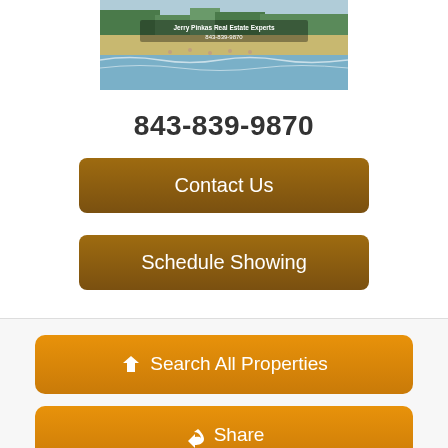[Figure (photo): Aerial beach photo with text overlay: Jerry Pinkas Real Estate Experts 843-839-9870]
843-839-9870
Contact Us
Schedule Showing
Search All Properties
Share
Additional Information